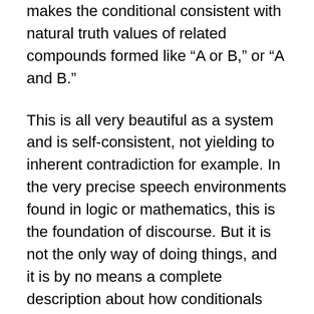makes the conditional consistent with natural truth values of related compounds formed like “A or B,” or “A and B.”
This is all very beautiful as a system and is self-consistent, not yielding to inherent contradiction for example. In the very precise speech environments found in logic or mathematics, this is the foundation of discourse. But it is not the only way of doing things, and it is by no means a complete description about how conditionals occur and are used in ordinary or disciplinary situations. Poetic usage, or historical discussions can make a hash of this and it clearly does not fit in many such situations where flexibility and purposeful confundity may be useful and even necessary.
Specific to the conditional, outside the material version, is the “contrafactual” or counterfactual. A contrafactual in